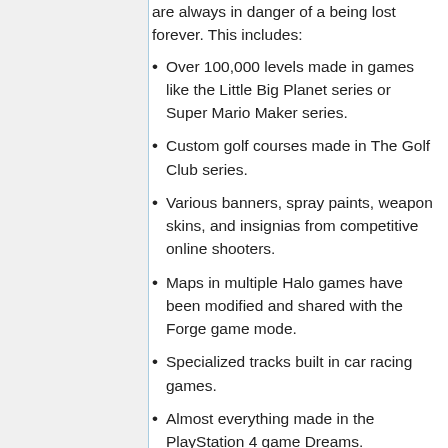are always in danger of a being lost forever. This includes:
Over 100,000 levels made in games like the Little Big Planet series or Super Mario Maker series.
Custom golf courses made in The Golf Club series.
Various banners, spray paints, weapon skins, and insignias from competitive online shooters.
Maps in multiple Halo games have been modified and shared with the Forge game mode.
Specialized tracks built in car racing games.
Almost everything made in the PlayStation 4 game Dreams.
Decal items (uploaded in SVG format) for PlayStation 4 racer